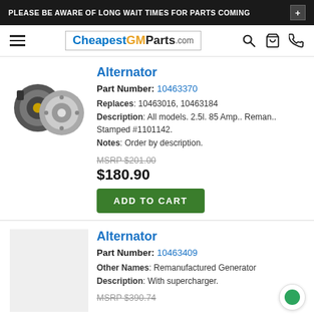PLEASE BE AWARE OF LONG WAIT TIMES FOR PARTS COMING
[Figure (logo): CheapestGMParts.com logo with navigation icons]
Alternator
Part Number: 10463370
Replaces: 10463016, 10463184
Description: All models. 2.5l. 85 Amp.. Reman.. Stamped #1101142.
Notes: Order by description.
MSRP $201.00
$180.90
ADD TO CART
Alternator
Part Number: 10463409
Other Names: Remanufactured Generator
Description: With supercharger.
MSRP $390.74